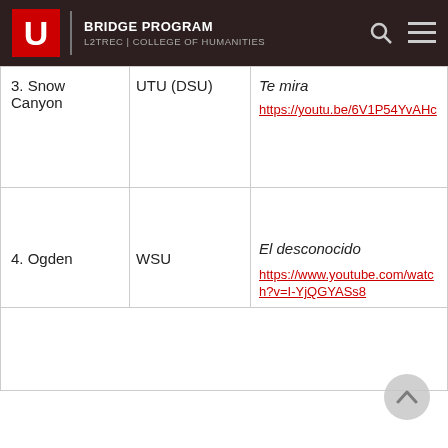BRIDGE PROGRAM
L2TREC | COLLEGE OF HUMANITIES
| 3. Snow Canyon | UTU (DSU) | Te mira
https://youtu.be/6V1P54YvAHc |
| 4. Ogden | WSU | El desconocido
https://www.youtube.com/watch?v=I-YjQGYASs8 |